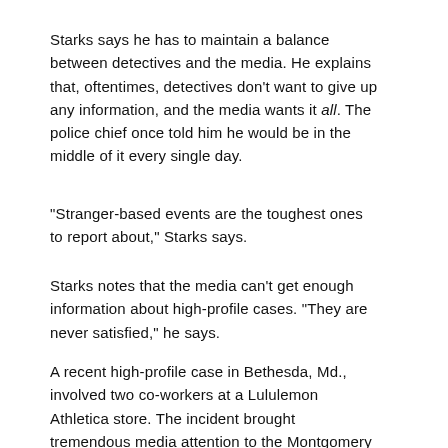Starks says he has to maintain a balance between detectives and the media. He explains that, oftentimes, detectives don't want to give up any information, and the media wants it all. The police chief once told him he would be in the middle of it every single day.
“Stranger-based events are the toughest ones to report about,” Starks says.
Starks notes that the media can’t get enough information about high-profile cases. “They are never satisfied,” he says.
A recent high-profile case in Bethesda, Md., involved two co-workers at a Lululemon Athletica store. The incident brought tremendous media attention to the Montgomery County Police Department.